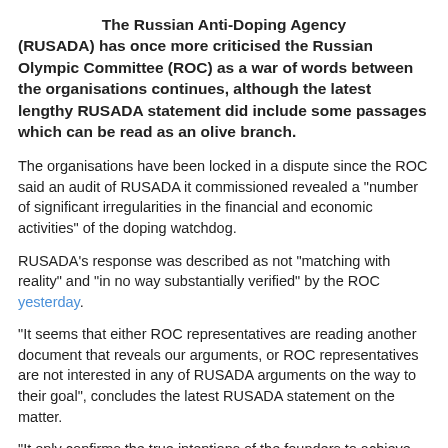The Russian Anti-Doping Agency (RUSADA) has once more criticised the Russian Olympic Committee (ROC) as a war of words between the organisations continues, although the latest lengthy RUSADA statement did include some passages which can be read as an olive branch.
The organisations have been locked in a dispute since the ROC said an audit of RUSADA it commissioned revealed a "number of significant irregularities in the financial and economic activities" of the doping watchdog.
RUSADA's response was described as not "matching with reality" and "in no way substantially verified" by the ROC yesterday.
"It seems that either ROC representatives are reading another document that reveals our arguments, or ROC representatives are not interested in any of RUSADA arguments on the way to their goal", concludes the latest RUSADA statement on the matter.
"It only confirms the true intentions of the founders to achieve their goal at any cost, in violation of not only Russian legislation, but also the international anti-doping standard for the protection of privacy and personal information.